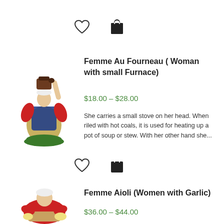[Figure (other): Heart (wishlist) and bag (cart) icons row 1]
[Figure (photo): Figurine of woman carrying small furnace on her head]
Femme Au Fourneau ( Woman with small Furnace)
$18.00 – $28.00
She carries a small stove on her head. When riled with hot coals, it is used for heating up a pot of soup or stew. With her other hand she...
[Figure (other): Heart (wishlist) and bag (cart) icons row 2]
[Figure (photo): Figurine of woman with garlic (Femme Aioli)]
Femme Aioli (Women with Garlic)
$36.00 – $44.00